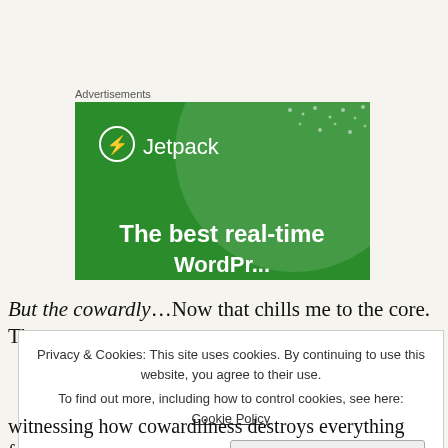Advertisements
[Figure (illustration): Jetpack advertisement banner with green background, circular decorative element, Jetpack logo with lightning bolt icon, and headline text 'The best real-time']
But the cowardly…Now that chills me to the core. Those
Privacy & Cookies: This site uses cookies. By continuing to use this website, you agree to their use.
To find out more, including how to control cookies, see here: Cookie Policy
Close and accept
witnessing how cowardliness destroys everything from